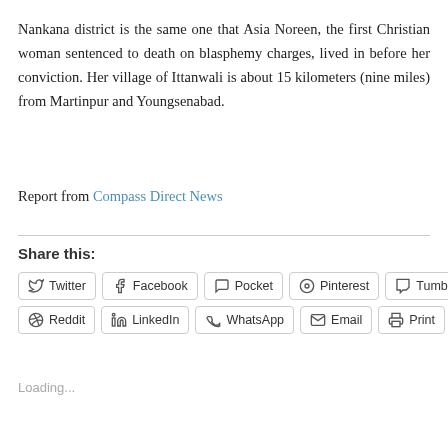Nankana district is the same one that Asia Noreen, the first Christian woman sentenced to death on blasphemy charges, lived in before her conviction. Her village of Ittanwali is about 15 kilometers (nine miles) from Martinpur and Youngsenabad.
Report from Compass Direct News
Share this:
Twitter
Facebook
Pocket
Pinterest
Tumblr
Reddit
LinkedIn
WhatsApp
Email
Print
Loading...